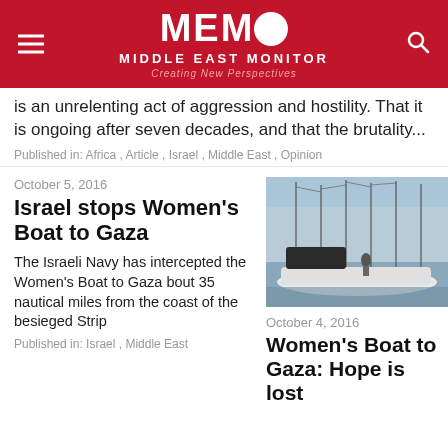[Figure (logo): MEMO Middle East Monitor logo with red background, hamburger menu icon on left, search icon on right]
is an unrelenting act of aggression and hostility. That it is ongoing after seven decades, and that the brutality...
Published in: Africa, Article, Israel, Middle East, Opinion
October 5, 2016
Israel stops Women's Boat to Gaza
The Israeli Navy has intercepted the Women's Boat to Gaza bout 35 nautical miles from the coast of the besieged Strip
Published in: Israel, Middle East
[Figure (photo): Photo of sailboats/yachts moored at a marina]
October 4, 2016
Women's Boat to Gaza: Hope is lost